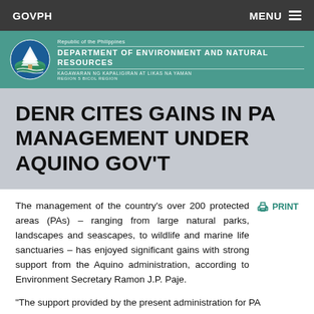GOVPH | MENU
[Figure (logo): Department of Environment and Natural Resources (DENR) Region 5 Bicol Region logo and header banner with agency seal]
DENR CITES GAINS IN PA MANAGEMENT UNDER AQUINO GOV'T
The management of the country's over 200 protected areas (PAs) – ranging from large natural parks, landscapes and seascapes, to wildlife and marine life sanctuaries – has enjoyed significant gains with strong support from the Aquino administration, according to Environment Secretary Ramon J.P. Paje.
“The support provided by the present administration for PA